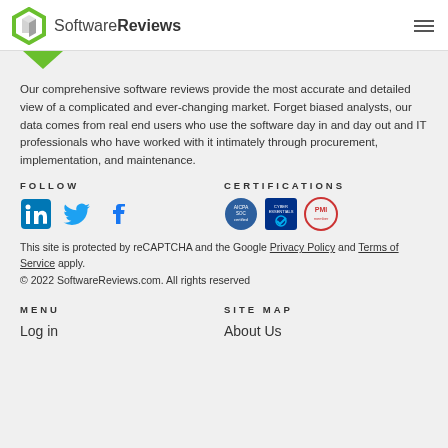SoftwareReviews
[Figure (logo): SoftwareReviews hexagon logo with green outline and gray cube inside, partially visible green arrow/chevron below]
Our comprehensive software reviews provide the most accurate and detailed view of a complicated and ever-changing market. Forget biased analysts, our data comes from real end users who use the software day in and day out and IT professionals who have worked with it intimately through procurement, implementation, and maintenance.
FOLLOW
CERTIFICATIONS
[Figure (logo): LinkedIn icon (blue)]
[Figure (logo): Twitter/X bird icon (blue)]
[Figure (logo): Facebook f icon (dark blue)]
[Figure (logo): AICPA SOC certification badge (blue circular badge)]
[Figure (logo): Cyber Essentials certification badge (blue badge with checkmark)]
[Figure (logo): PMI certification badge (circular red/orange badge)]
This site is protected by reCAPTCHA and the Google Privacy Policy and Terms of Service apply.
© 2022 SoftwareReviews.com. All rights reserved
MENU
SITE MAP
Log in
About Us